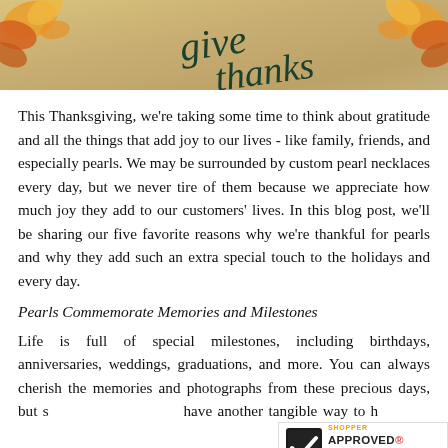[Figure (photo): A photo strip showing a kraft paper background with cursive 'give thanks' text in dark green, decorated with orange/yellow autumn leaves on the sides.]
This Thanksgiving, we're taking some time to think about gratitude and all the things that add joy to our lives - like family, friends, and especially pearls. We may be surrounded by custom pearl necklaces every day, but we never tire of them because we appreciate how much joy they add to our customers' lives. In this blog post, we'll be sharing our five favorite reasons why we're thankful for pearls and why they add such an extra special touch to the holidays and every day.
Pearls Commemorate Memories and Milestones
Life is full of special milestones, including birthdays, anniversaries, weddings, graduations, and more. You can always cherish the memories and photographs from these precious days, but sometimes it's nice to have another tangible way to hold onto them. Pearl jewelry is a beautiful and
[Figure (logo): Shopper Approved badge with checkmark logo, five orange stars, and addapearl.com URL]